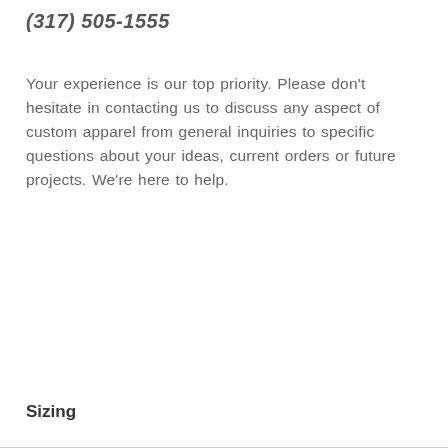(317) 505-1555
Your experience is our top priority. Please don't hesitate in contacting us to discuss any aspect of custom apparel from general inquiries to specific questions about your ideas, current orders or future projects. We're here to help.
Sizing